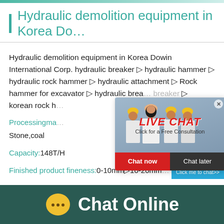Hydraulic demolition equipment in Korea Do…
Hydraulic demolition equipment in Korea Dowin International Corp. hydraulic breaker ▷ hydraulic hammer ▷ hydraulic rock hammer ▷ hydraulic attachment ▷ Rock hammer for excavator ▷ hydraulic breaker ▷ breaker ▷ korean rock h…
Processingma…
Stone,coal
Capacity:148T/H
Finished product fineness:0-10mm▷10-20mm…
[Figure (photo): Live chat popup with workers in yellow helmets, LIVE CHAT label in red, Chat now and Chat later buttons]
[Figure (photo): Right side widget showing industrial cone crusher machine with sky blue background and Click me to chat>> button]
Chat Online